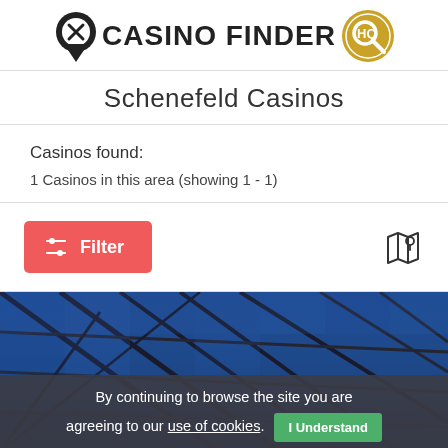[Figure (logo): Casino Finder HQ logo with map pin icon and magnifying glass badge]
Schenefeld Casinos
Casinos found:
1 Casinos in this area (showing 1 - 1)
[Figure (screenshot): Red Filter button with sliders icon on left, map icon on right]
[Figure (photo): Interior architectural photo showing glass roof structure with steel beams against blue sky]
By continuing to browse the site you are agreeing to our use of cookies. I Understand